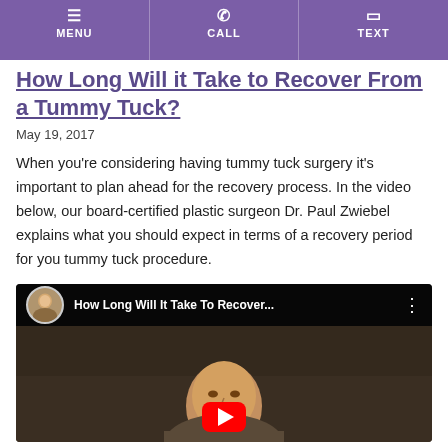MENU | CALL | TEXT
How Long Will it Take to Recover From a Tummy Tuck?
May 19, 2017
When you’re considering having tummy tuck surgery it’s important to plan ahead for the recovery process. In the video below, our board-certified plastic surgeon Dr. Paul Zwiebel explains what you should expect in terms of a recovery period for you tummy tuck procedure.
[Figure (screenshot): YouTube video thumbnail showing Dr. Paul Zwiebel with title 'How Long Will It Take To Recover...']